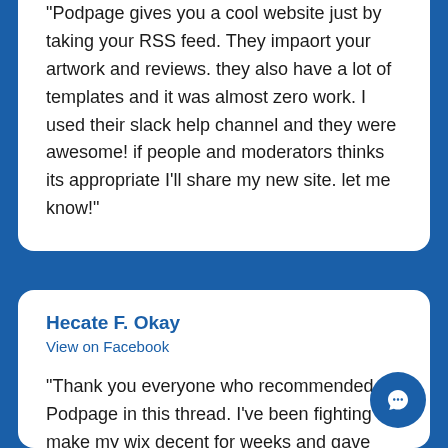"Podpage gives you a cool website just by taking your RSS feed. They impaort your artwork and reviews. they also have a lot of templates and it was almost zero work. I used their slack help channel and they were awesome! if people and moderators thinks its appropriate I'll share my new site. let me know!"
Hecate F. Okay
View on Facebook
"Thank you everyone who recommended Podpage in this thread. I've been fighting to make my wix decent for weeks and gave Podpage a try. I had it up in 10m with custom